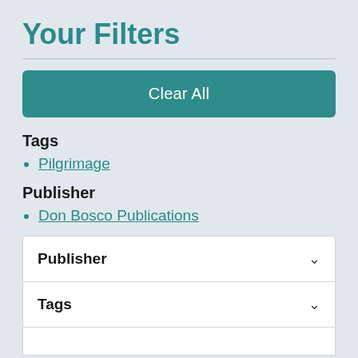Your Filters
Clear All
Tags
Pilgrimage
Publisher
Don Bosco Publications
Publisher ∨
Tags ∨